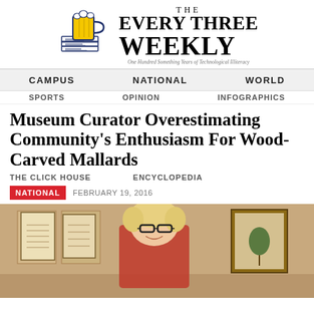[Figure (logo): The Every Three Weekly newspaper logo with beer mug and stacked newspapers illustration]
THE EVERY THREE WEEKLY
One Hundred Something Years of Technological Illiteracy
CAMPUS   NATIONAL   WORLD
SPORTS   OPINION   INFOGRAPHICS
THE CLICK HOUSE   ENCYCLOPEDIA
Museum Curator Overestimating Community's Enthusiasm For Wood-Carved Mallards
NATIONAL   FEBRUARY 19, 2016
[Figure (photo): Woman with short blonde hair and black-rimmed glasses smiling in what appears to be a museum or gallery setting with framed artwork visible in background]